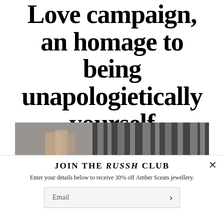Love campaign, an homage to being unapologietically yourself
[Figure (photo): A photograph showing hands and reflective metallic surfaces, dark tones with silver vertical strips]
JOIN THE RUSSH CLUB
Enter your details below to receive 30% off Amber Sceats jewellery.
Email